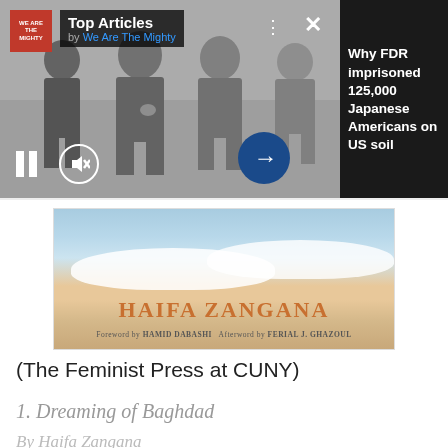[Figure (screenshot): Video player overlay showing black and white historical photo of Japanese American children, with 'Top Articles by We Are The Mighty' header, pause/mute controls, arrow button, and right panel with article title 'Why FDR imprisoned 125,000 Japanese Americans on US soil']
Why FDR imprisoned 125,000 Japanese Americans on US soil
[Figure (illustration): Book cover for Haifa Zangana with sky and clouds background. Author name 'HAIFA ZANGANA' in large brown letters. 'Foreword by HAMID DABASHI  Afterword by FERIAL J. GHAZOUL' at bottom.]
(The Feminist Press at CUNY)
1. Dreaming of Baghdad
By Haifa Zangana